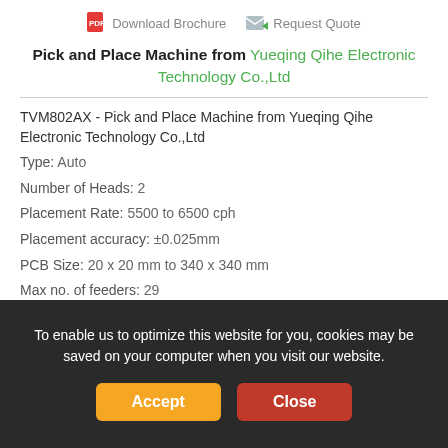Download Brochure   Request Quote
Pick and Place Machine from Yueqing Qihe Electronic Technology Co.,Ltd
TVM802AX - Pick and Place Machine from Yueqing Qihe Electronic Technology Co.,Ltd
Type:  Auto
Number of Heads:  2
Placement Rate:  5500 to 6500 cph
Placement accuracy:  ±0.025mm
PCB Size:  20 x 20 mm to 340 x 340 mm
Max no. of feeders:  29
Max travel area:  395 x 450 x 12.5 mm
To enable us to optimize this website for you, cookies may be saved on your computer when you visit our website.